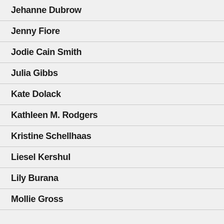Jehanne Dubrow
Jenny Fiore
Jodie Cain Smith
Julia Gibbs
Kate Dolack
Kathleen M. Rodgers
Kristine Schellhaas
Liesel Kershul
Lily Burana
Mollie Gross